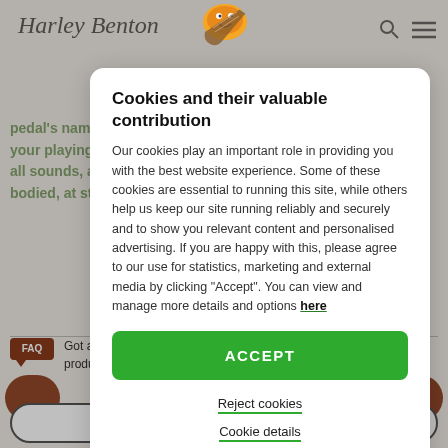Harley Benton
pedal's name, or play around with dynamic rhythms to take your playing to the next level. All three modes are available on all sounds, and all three voices to provide you with rich, full-bodied, at style
Cookies and their valuable contribution
Our cookies play an important role in providing you with the best website experience. Some of these cookies are essential to running this site, while others help us keep our site running reliably and securely and to show you relevant content and personalised advertising. If you are happy with this, please agree to our use for statistics, marketing and external media by clicking "Accept". You can view and manage more details and options here
ACCEPT
Reject cookies
Cookie details
Got any questions regarding buying and shipping Harley Benton products?
VISIT OUR FAQ